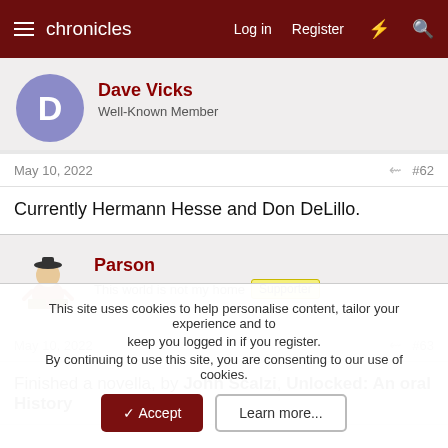chronicles  Log in  Register
Dave Vicks
Well-Known Member
May 10, 2022  #62
Currently Hermann Hesse and Don DeLillo.
Parson
This world is not my home  Supporter
May 10, 2022  #63
Finished a novella, by John Scalzi, Unlocked: An oral History
This site uses cookies to help personalise content, tailor your experience and to keep you logged in if you register.
By continuing to use this site, you are consenting to our use of cookies.